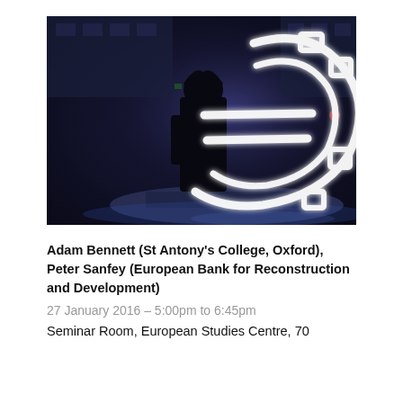[Figure (photo): Night photograph of a person in silhouette standing in front of a large illuminated white neon Euro sign (€) against a dark urban background with blue-tinted lighting.]
Adam Bennett (St Antony's College, Oxford), Peter Sanfey (European Bank for Reconstruction and Development)
27 January 2016 – 5:00pm to 6:45pm
Seminar Room, European Studies Centre, 70